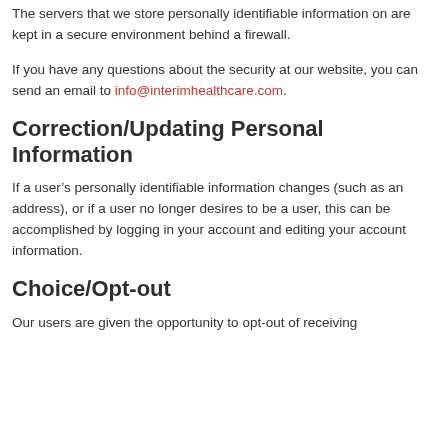The servers that we store personally identifiable information on are kept in a secure environment behind a firewall.
If you have any questions about the security at our website, you can send an email to info@interimhealthcare.com.
Correction/Updating Personal Information
If a user’s personally identifiable information changes (such as an address), or if a user no longer desires to be a user, this can be accomplished by logging in your account and editing your account information.
Choice/Opt-out
Our users are given the opportunity to opt-out of receiving